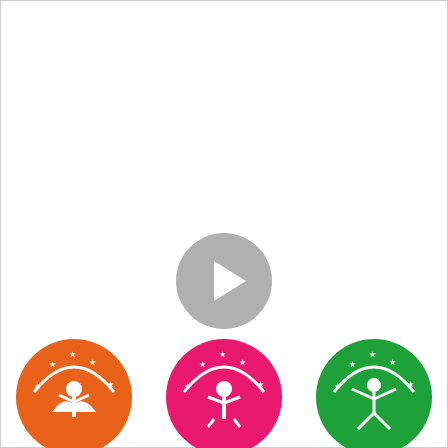[Figure (other): A gray circular play button icon centered in the upper-middle portion of the page, indicating a video placeholder.]
[Figure (logo): Three circular logo badges partially visible at the bottom of the page. Left: orange circle with a figure with wings and stars. Center: pink/magenta circle with a figure and stars. Right: green circle with a figure and stars. These appear to be achievement or award badge logos.]